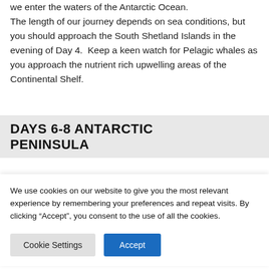we enter the waters of the Antarctic Ocean. The length of our journey depends on sea conditions, but you should approach the South Shetland Islands in the evening of Day 4.  Keep a keen watch for Pelagic whales as you approach the nutrient rich upwelling areas of the Continental Shelf.
DAYS 6-8 ANTARCTIC PENINSULA
We use cookies on our website to give you the most relevant experience by remembering your preferences and repeat visits. By clicking “Accept”, you consent to the use of all the cookies.
Cookie Settings  Accept